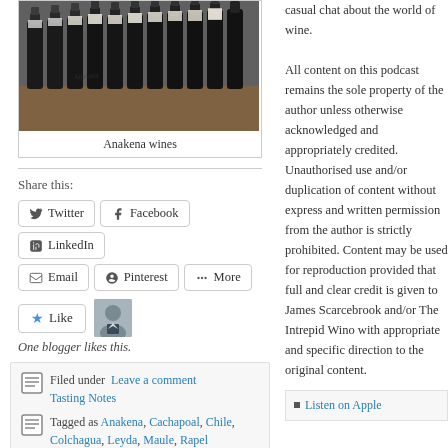[Figure (photo): Rows of dark wine bottles on a wooden shelf/table, Anakena wines]
Anakena wines
Share this:
Twitter  Facebook  LinkedIn  Email  Pinterest  More
Like  One blogger likes this.
Filed under  Leave a comment  Tasting Notes
Tagged as Anakena, Cachapoal, Chile, Colchagua, Leyda, Maule, Rapel Valley, South America
casual chat about the world of wine.

All content on this podcast remains the sole property of the author unless otherwise acknowledged and appropriately credited. Unauthorised use and/or duplication of content without express and written permission from the author is strictly prohibited. Content may be used for reproduction provided that full and clear credit is given to James Scarcebrook and/or The Intrepid Wino with appropriate and specific direction to the original content.
Listen on Apple